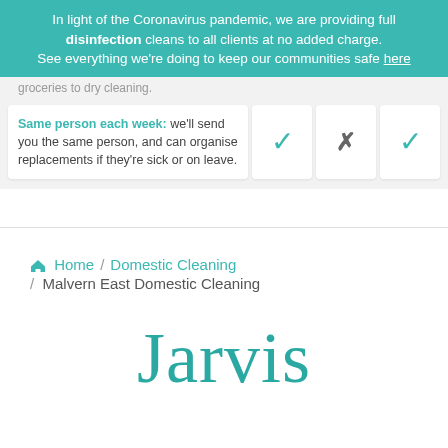In light of the Coronavirus pandemic, we are providing full disinfection cleans to all clients at no added charge. See everything we're doing to keep our communities safe here
groceries to dry cleaning.
| Feature | Check1 | Check2 | Check3 |
| --- | --- | --- | --- |
| Same person each week: we'll send you the same person, and can organise replacements if they're sick or on leave. | ✓ | ✗ | ✓ |
Home / Domestic Cleaning / Malvern East Domestic Cleaning
Jarvis